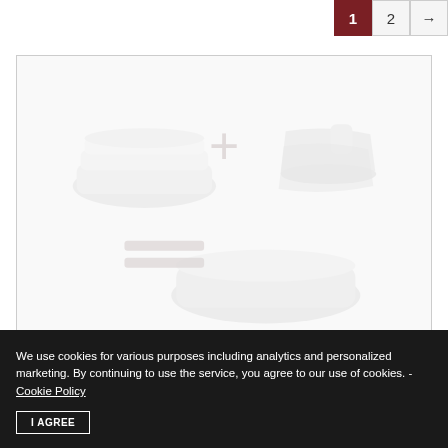1  2  →
[Figure (illustration): Faded/ghosted product illustration showing kitchen appliances (e.g., a container/tray and an iron), connected with a plus sign and equals sign, suggesting a product bundle or equation.]
We use cookies for various purposes including analytics and personalized marketing. By continuing to use the service, you agree to our use of cookies. - Cookie Policy
I AGREE